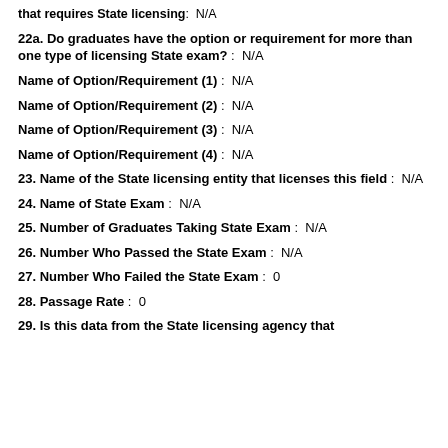that requires State licensing: N/A
22a. Do graduates have the option or requirement for more than one type of licensing State exam? : N/A
Name of Option/Requirement (1) : N/A
Name of Option/Requirement (2) : N/A
Name of Option/Requirement (3) : N/A
Name of Option/Requirement (4) : N/A
23. Name of the State licensing entity that licenses this field : N/A
24. Name of State Exam : N/A
25. Number of Graduates Taking State Exam : N/A
26. Number Who Passed the State Exam : N/A
27. Number Who Failed the State Exam : 0
28. Passage Rate : 0
29. Is this data from the State licensing agency that